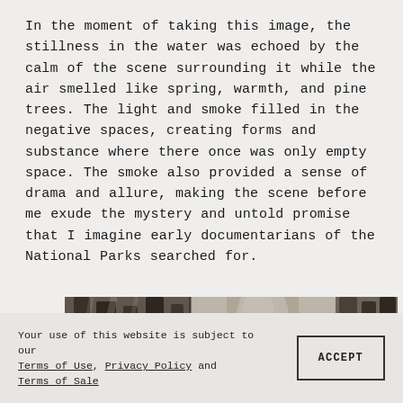In the moment of taking this image, the stillness in the water was echoed by the calm of the scene surrounding it while the air smelled like spring, warmth, and pine trees. The light and smoke filled in the negative spaces, creating forms and substance where there once was only empty space. The smoke also provided a sense of drama and allure, making the scene before me exude the mystery and untold promise that I imagine early documentarians of the National Parks searched for.
[Figure (photo): A panoramic black-and-white photograph of a National Park scene featuring tall trees and a waterfall in the background, with misty atmospheric light filtering through.]
Your use of this website is subject to our Terms of Use, Privacy Policy and Terms of Sale